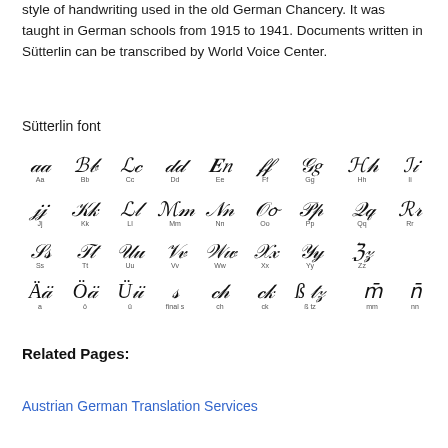style of handwriting used in the old German Chancery. It was taught in German schools from 1915 to 1941. Documents written in Sütterlin can be transcribed by World Voice Center.
Sütterlin font
[Figure (illustration): Sütterlin alphabet chart showing handwritten script characters for each letter of the German alphabet, including umlauts (ä, ö, ü) and special characters (ß, tz, mm, nn), with Latin letter labels beneath each character pair.]
Related Pages:
Austrian German Translation Services